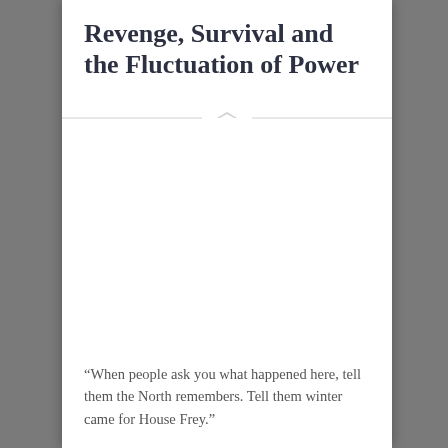Revenge, Survival and the Fluctuation of Power
“When people ask you what happened here, tell them the North remembers. Tell them winter came for House Frey.”